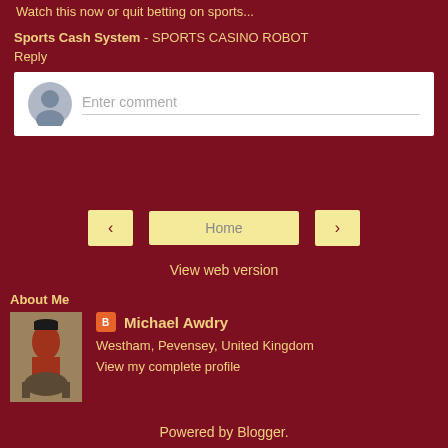Watch this now or quit betting on sports...
Sports Cash System - SPORTS CASINO ROBOT
Reply
Enter comment
Home
View web version
About Me
[Figure (photo): Profile photo thumbnail of a soldier on horseback in red uniform]
Michael Awdry
Westham, Pevensey, United Kingdom
View my complete profile
Powered by Blogger.